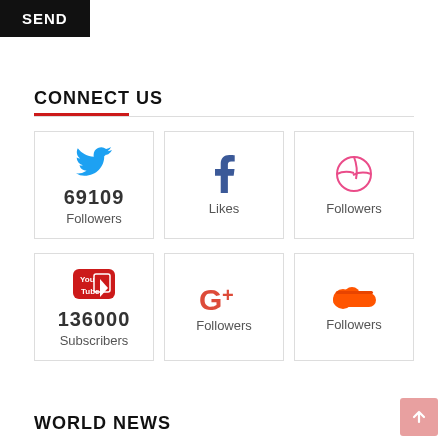SEND
CONNECT US
[Figure (infographic): Social media connect cards: Twitter 69109 Followers, Facebook Likes, Dribbble Followers, YouTube 136000 Subscribers, Google+ Followers, SoundCloud Followers]
WORLD NEWS